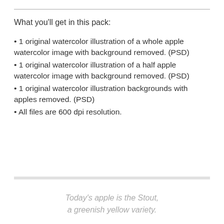What you’ll get in this pack:
1 original watercolor illustration of a whole apple watercolor image with background removed. (PSD)
1 original watercolor illustration of a half apple watercolor image with background removed. (PSD)
1 original watercolor illustration backgrounds with apples removed. (PSD)
All files are 600 dpi resolution.
Today’s apple is the Stout, a greenish yellow variety.